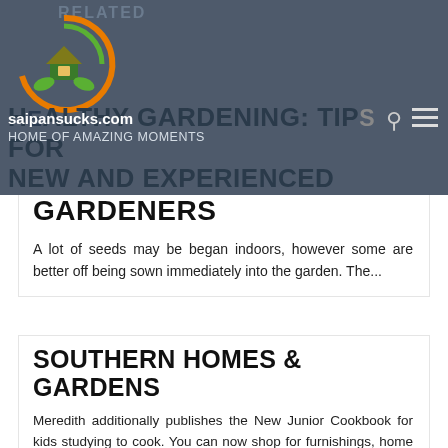RELATED
[Figure (logo): Circular logo with house and green leaf design]
HEALTHY GARDENING: TIPS FOR NEW AND EXPERIENCED GARDENERS
saipansucks.com
HOME OF AMAZING MOMENTS
A lot of seeds may be began indoors, however some are better off being sown immediately into the garden. The...
SOUTHERN HOMES & GARDENS
Meredith additionally publishes the New Junior Cookbook for kids studying to cook. You can now shop for furnishings, home decor...